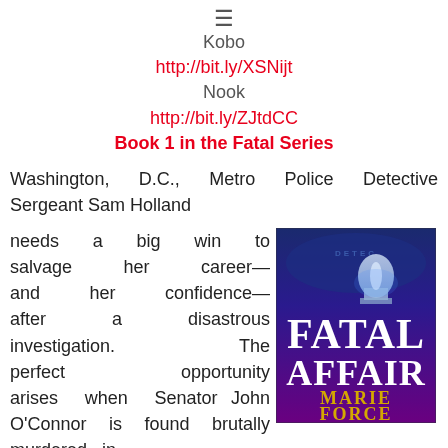≡
Kobo
http://bit.ly/XSNijt
Nook
http://bit.ly/ZJtdCC
Book 1 in the Fatal Series
Washington, D.C., Metro Police Detective Sergeant Sam Holland
needs a big win to salvage her career—and her confidence—after a disastrous investigation.  The perfect opportunity arises when Senator John O'Connor is found brutally murdered, in
[Figure (photo): Book cover of 'Fatal Affair' by Marie Force, featuring the US Capitol building and detective badge imagery on a dark blue and purple background.]